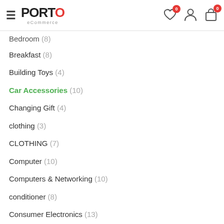Porto eCommerce — navigation header with hamburger menu, logo, wishlist (0), account, and cart (0) icons
Bedroom (8)
Breakfast (8)
Building Toys (4)
Car Accessories (10)
Changing Gift (4)
clothing (3)
CLOTHING (7)
Computer (10)
Computers & Networking (10)
conditioner (8)
Consumer Electronics (13)
Cooking (4)
Diapers (4)
Dress & Skirts (2)
Dress & Skirts (2)